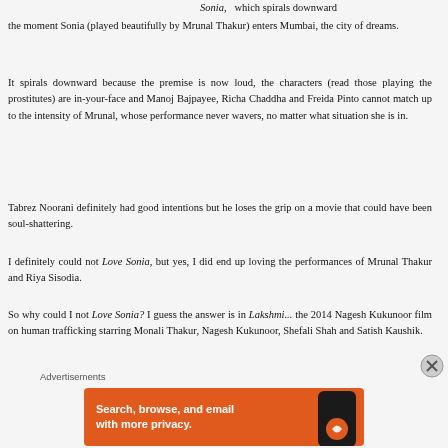Sonia, which spirals downward the moment Sonia (played beautifully by Mrunal Thakur) enters Mumbai, the city of dreams.
It spirals downward because the premise is now loud, the characters (read those playing the prostitutes) are in-your-face and Manoj Bajpayee, Richa Chaddha and Freida Pinto cannot match up to the intensity of Mrunal, whose performance never wavers, no matter what situation she is in.
Tabrez Noorani definitely had good intentions but he loses the grip on a movie that could have been soul-shattering.
I definitely could not Love Sonia, but yes, I did end up loving the performances of Mrunal Thakur and Riya Sisodia.
So why could I not Love Sonia? I guess the answer is in Lakshmi... the 2014 Nagesh Kukunoor film on human trafficking starring Monali Thakur, Nagesh Kukunoor, Shefali Shah and Satish Kaushik.
Advertisements
[Figure (screenshot): DuckDuckGo advertisement banner showing a smartphone and text 'Search, browse, and email with more privacy.' on an orange background]